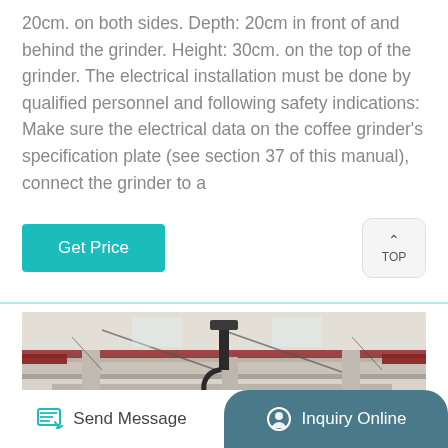20cm. on both sides. Depth: 20cm in front of and behind the grinder. Height: 30cm. on the top of the grinder. The electrical installation must be done by qualified personnel and following safety indications: Make sure the electrical data on the coffee grinder's specification plate (see section 37 of this manual), connect the grinder to a
[Figure (other): Get Price button (teal/cyan) and a TOP navigation button with upward chevron]
[Figure (photo): Industrial interior photo showing overhead crane hook, beams, columns, and machinery in a large factory or warehouse setting]
[Figure (other): Bottom navigation bar with Send Message button on left and Inquiry Online button on right with teal/dark background]